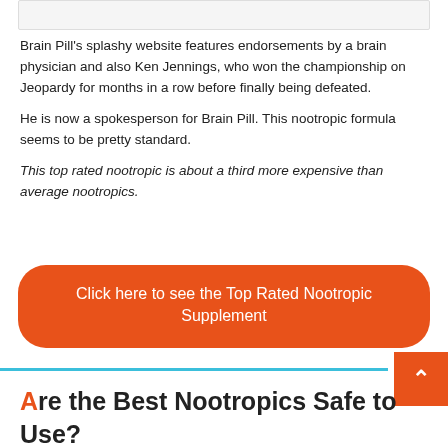[Figure (other): Gray box at top of page, partial content cut off]
Brain Pill's splashy website features endorsements by a brain physician and also Ken Jennings, who won the championship on Jeopardy for months in a row before finally being defeated.

He is now a spokesperson for Brain Pill. This nootropic formula seems to be pretty standard.

This top rated nootropic is about a third more expensive than average nootropics.
Click here to see the Top Rated Nootropic Supplement
Are the Best Nootropics Safe to Use?